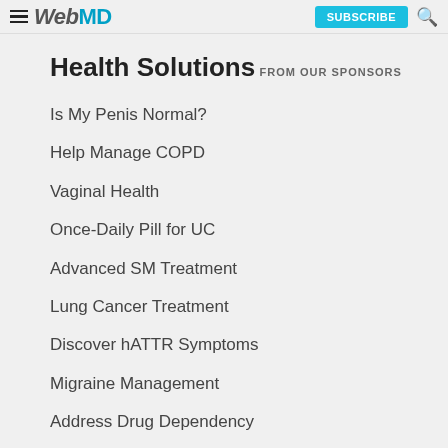WebMD | SUBSCRIBE
Health Solutions
FROM OUR SPONSORS
Is My Penis Normal?
Help Manage COPD
Vaginal Health
Once-Daily Pill for UC
Advanced SM Treatment
Lung Cancer Treatment
Discover hATTR Symptoms
Migraine Management
Address Drug Dependency
Help Prevent a Future DVT/PE
ADVERTISEMENT